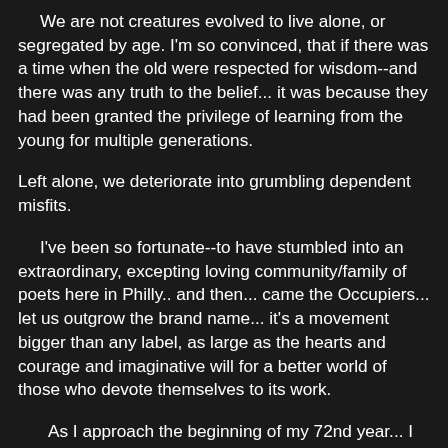We are not creatures evolved to live alone, or segregated by age. I'm so convinced, that if there was a time when the old were respected for wisdom--and there was any truth to the belief... it was because they had been granted the privilege of learning from the young for multiple generations.
Left alone, we deteriorate into grumbling dependent misfits.
I've been so fortunate--to have stumbled into an extraordinary, excepting loving community/family of poets here in Philly.. and then... came the Occupiers... let us outgrow the brand name... it's a movement bigger than any label, as large as the hearts and courage and imaginative will for a better world of those who devote themselves to its work.
As I approach the beginning of my 72nd year... I would not trade places for any one on earth. I